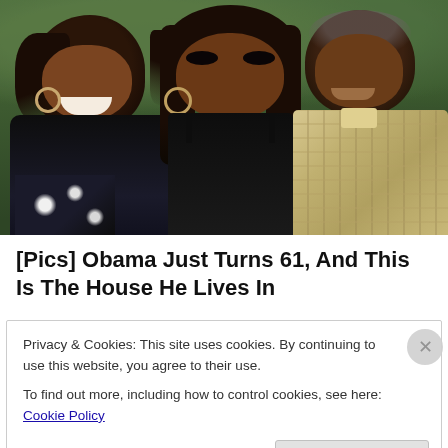[Figure (photo): Family photo of three people (two women and one man) posing together outdoors with green foliage in background. The woman on the left has curly hair and hoop earrings, the woman in the center has straight hair and a necklace, and the man on the right wears a plaid shirt.]
[Pics] Obama Just Turns 61, And This Is The House He Lives In
BuzzAura
Privacy & Cookies: This site uses cookies. By continuing to use this website, you agree to their use.
To find out more, including how to control cookies, see here: Cookie Policy
Close and accept